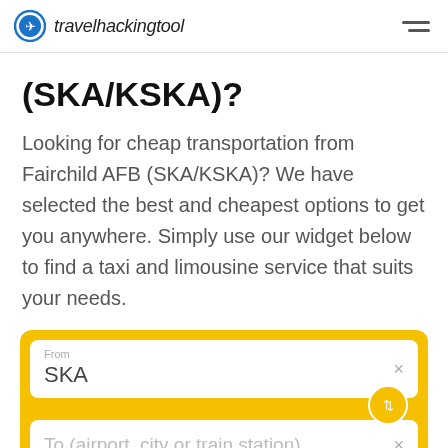travelhackingtool
(SKA/KSKA)?
Looking for cheap transportation from Fairchild AFB (SKA/KSKA)? We have selected the best and cheapest options to get you anywhere. Simply use our widget below to find a taxi and limousine service that suits your needs.
[Figure (screenshot): Transportation booking widget with From field showing 'SKA', a swap button, and a To field with placeholder 'To (airport, city or train station)', set in a yellow/gold rounded container with a green bar at the bottom.]